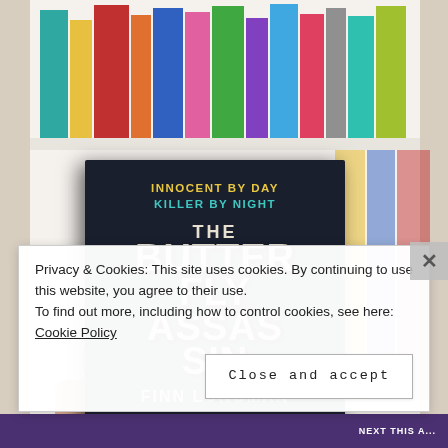[Figure (photo): A hand holding up a dark navy book cover titled 'The Butterfly Assassin' by Finn Longman, with tagline 'Innocent by Day, Killer by Night' and subtitle 'The most addictive new thriller since The Hunger Games', photographed in front of a bookshelf with colorful book spines visible in the background.]
Privacy & Cookies: This site uses cookies. By continuing to use this website, you agree to their use.
To find out more, including how to control cookies, see here: Cookie Policy
Close and accept